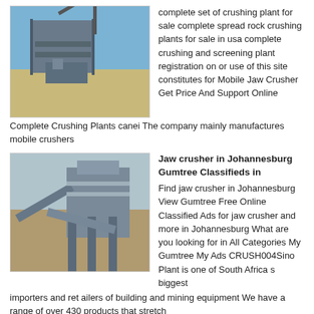[Figure (photo): Industrial crushing plant with machinery and steel structure against blue sky]
complete set of crushing plant for sale complete spread rock crushing plants for sale in usa complete crushing and screening plant registration on or use of this site constitutes for Mobile Jaw Crusher Get Price And Support Online Complete Crushing Plants canei The company mainly manufactures mobile crushers
[Figure (photo): Large jaw crusher machinery on site with conveyor belts]
Jaw crusher in Johannesburg Gumtree Classifieds in
Find jaw crusher in Johannesburg View Gumtree Free Online Classified Ads for jaw crusher and more in Johannesburg What are you looking for in All Categories My Gumtree My Ads CRUSH004Sino Plant is one of South Africa s biggest importers and ret ailers of building and mining equipment We have a range of over 430 products that stretch
[Figure (photo): Stone crusher machine outdoors]
cost of manufactured sand crushers india mine equipments
Used Stone Crusher Machine Price in